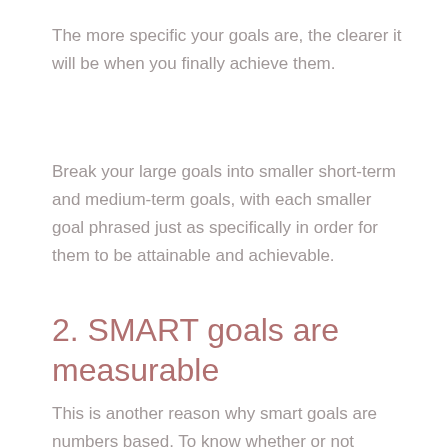The more specific your goals are, the clearer it will be when you finally achieve them.
Break your large goals into smaller short-term and medium-term goals, with each smaller goal phrased just as specifically in order for them to be attainable and achievable.
2. SMART goals are measurable
This is another reason why smart goals are numbers based. To know whether or not